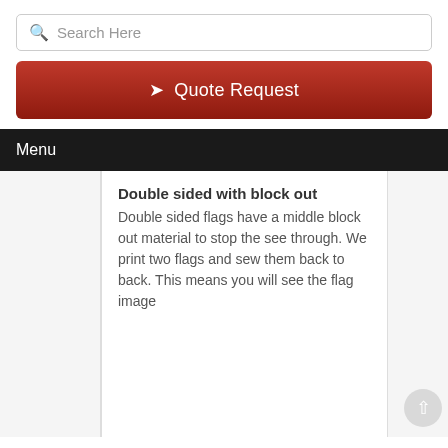Search Here
Quote Request
Menu
Double sided with block out
Double sided flags have a middle block out material to stop the see through. We print two flags and sew them back to back. This means you will see the flag image